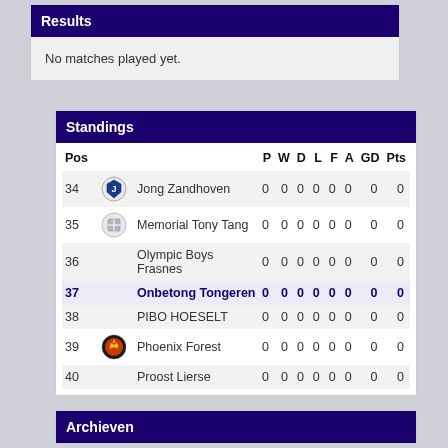Results
No matches played yet.
Standings
| Pos |  |  | P | W | D | L | F | A | GD | Pts |
| --- | --- | --- | --- | --- | --- | --- | --- | --- | --- | --- |
| 34 |  | Jong Zandhoven | 0 | 0 | 0 | 0 | 0 | 0 | 0 | 0 |
| 35 |  | Memorial Tony Tang | 0 | 0 | 0 | 0 | 0 | 0 | 0 | 0 |
| 36 |  | Olympic Boys Frasnes | 0 | 0 | 0 | 0 | 0 | 0 | 0 | 0 |
| 37 |  | Onbetong Tongeren | 0 | 0 | 0 | 0 | 0 | 0 | 0 | 0 |
| 38 |  | PIBO HOESELT | 0 | 0 | 0 | 0 | 0 | 0 | 0 | 0 |
| 39 |  | Phoenix Forest | 0 | 0 | 0 | 0 | 0 | 0 | 0 | 0 |
| 40 |  | Proost Lierse | 0 | 0 | 0 | 0 | 0 | 0 | 0 | 0 |
Archieven